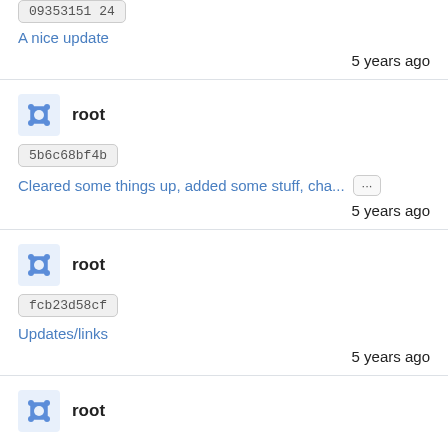09353151 24
A nice update
5 years ago
root
5b6c68bf4b
Cleared some things up, added some stuff, cha... ...
5 years ago
root
fcb23d58cf
Updates/links
5 years ago
root